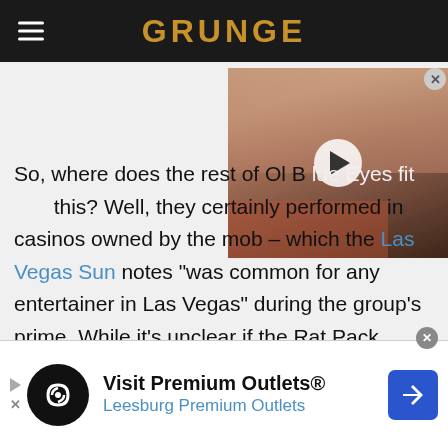GRUNGE
[Figure (photo): Video thumbnail showing a woman's face with dark hair, with a play button overlay]
So, where does the rest of Ol B[lue Eyes fit into] this? Well, they certainly performed in casinos owned by the mob – which the Las Vegas Sun notes "was common for any entertainer in Las Vegas" during the group's prime. While it's unclear if the Rat Pack enjoyed these appearances, their December 1962 performance at the mob-run Villa Venice in Northbrook, Illinois, must have
Visit Premium Outlets® Leesburg Premium Outlets